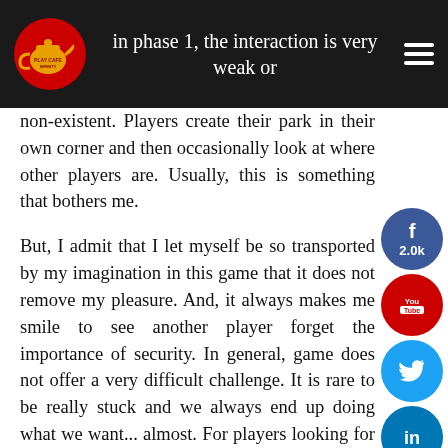in phase 1, the interaction is very weak or
non-existent. Players create their park in their own corner and then occasionally look at where other players are. Usually, this is something that bothers me.

But, I admit that I let myself be so transported by my imagination in this game that it does not remove my pleasure. And, it always makes me smile to see another player forget the importance of security. In general, game does not offer a very difficult challenge. It is rare to be really stuck and we always end up doing what we want... almost. For players looking for complexity, you will be disappointed. Another point more anecdotal, the customization of the park is also a little limited especially by meeples dinosaurs that closely resemble the others (but hey, it would have been